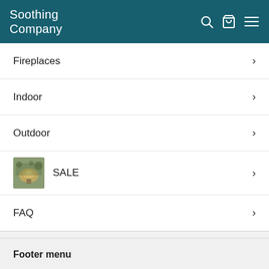Soothing Company
Fireplaces
Indoor
Outdoor
SALE
FAQ
Footer menu
Search
About Us